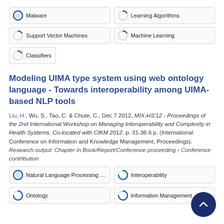[Figure (infographic): Keyword pills row 1: Malware (100% filled circle), Learning Algorithms (partial circle ~15%)]
[Figure (infographic): Keyword pills row 2: Support Vector Machines (partial circle ~15%), Machine Learning (partial circle ~15%)]
[Figure (infographic): Keyword pill row 3: Classifiers (partial circle ~15%)]
Modeling UIMA type system using web ontology language - Towards interoperability among UIMA-based NLP tools
Liu, H., Wu, S., Tao, C. & Chute, C., Dec 7 2012, MIX-HS'12 - Proceedings of the 2nd International Workshop on Managing Interoperability and Complexity in Health Systems, Co-located with CIKM 2012. p. 31-36 6 p. (International Conference on Information and Knowledge Management, Proceedings). Research output: Chapter in Book/Report/Conference proceeding › Conference contribution
[Figure (infographic): Keyword pills bottom row 1: Natural Language Processing (N... ~100% filled), Interoperability (~75% filled)]
[Figure (infographic): Keyword pills bottom row 2: Ontology (~75% filled), Information Management (~75% filled)]
[Figure (infographic): Scroll-to-top button, dark navy circle with upward chevron]